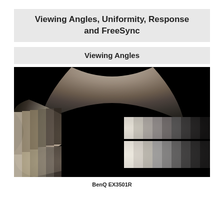Viewing Angles, Uniformity, Response and FreeSync
Viewing Angles
[Figure (photo): Viewing angles test photo of BenQ EX3501R monitor showing grayscale gradient bars photographed from top, left, right, and front angles on black background]
BenQ EX3501R